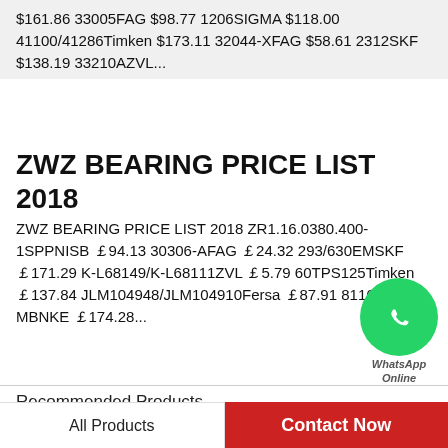$161.86 33005FAG $98.77 1206SIGMA $118.00 41100/41286Timken $173.11 32044-XFAG $58.61 2312SKF $138.19 33210AZVL...
ZWZ BEARING PRICE LIST 2018
ZWZ BEARING PRICE LIST 2018 ZR1.16.0380.400-1SPPNISB ￡94.13 30306-AFAG ￡24.32 293/630EMSKF ￡171.29 K-L68149/K-L68111ZVL ￡5.79 60TPS125Timken ￡137.84 JLM104948/JLM104910Fersa ￡87.91 81160-MBNKE ￡174.28...
[Figure (illustration): WhatsApp Online contact button - green circle with phone icon]
Recommended Products
[Figure (photo): Bearing product image on light grey background]
[Figure (photo): Bearing product image on dark grey background]
All Products
Contact Now